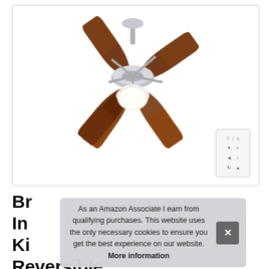[Figure (photo): Ceiling fan with five dark wood blades, brushed nickel finish, and a white dome light fixture below the motor. A small wall remote control is shown in the bottom-right corner of the image box.]
Br... Inc... Kit... Reversible California
As an Amazon Associate I earn from qualifying purchases. This website uses the only necessary cookies to ensure you get the best experience on our website. More information